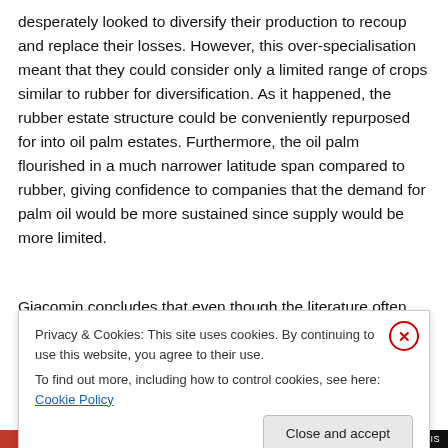desperately looked to diversify their production to recoup and replace their losses. However, this over-specialisation meant that they could consider only a limited range of crops similar to rubber for diversification. As it happened, the rubber estate structure could be conveniently repurposed for into oil palm estates. Furthermore, the oil palm flourished in a much narrower latitude span compared to rubber, giving confidence to companies that the demand for palm oil would be more sustained since supply would be more limited.
Giacomin concludes that even though the literature often
Privacy & Cookies: This site uses cookies. By continuing to use this website, you agree to their use.
To find out more, including how to control cookies, see here: Cookie Policy